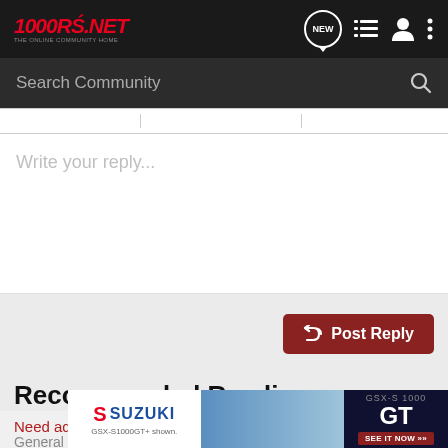1000rr.net - The Online Community Home
Search Community
Write your reply...
[Figure (screenshot): Post Reply button with reply arrow icon, red background]
Recommended Reading
Need advice on what i should do?
General
[Figure (other): Suzuki GSX-S1000GT advertisement banner with motorcycle image and GT logo]